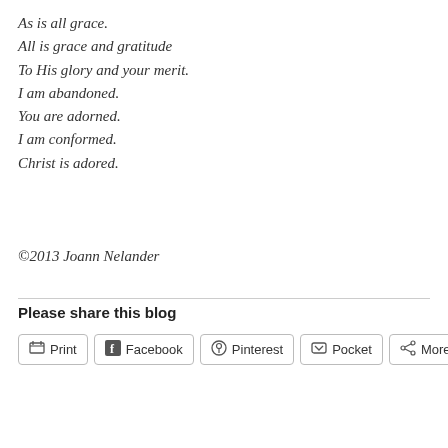As is all grace.
All is grace and gratitude
To His glory and your merit.
I am abandoned.
You are adorned.
I am conformed.
Christ is adored.
©2013 Joann Nelander
Please share this blog
[Figure (other): Social sharing buttons: Print, Facebook, Pinterest, Pocket, More]